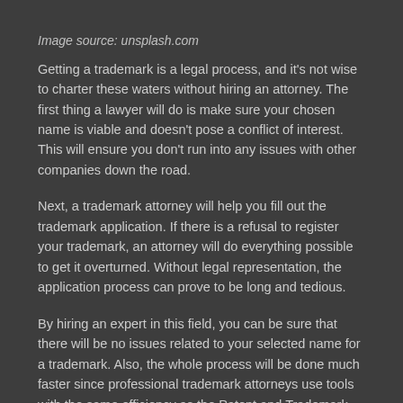Image source: unsplash.com
Getting a trademark is a legal process, and it's not wise to charter these waters without hiring an attorney. The first thing a lawyer will do is make sure your chosen name is viable and doesn't pose a conflict of interest. This will ensure you don't run into any issues with other companies down the road.
Next, a trademark attorney will help you fill out the trademark application. If there is a refusal to register your trademark, an attorney will do everything possible to get it overturned. Without legal representation, the application process can prove to be long and tedious.
By hiring an expert in this field, you can be sure that there will be no issues related to your selected name for a trademark. Also, the whole process will be done much faster since professional trademark attorneys use tools with the same efficiency as the Patent and Trademark Office.